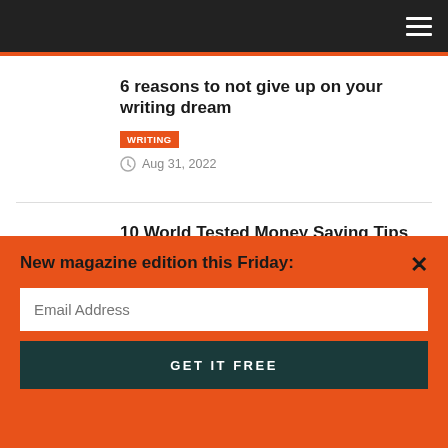Navigation bar with hamburger menu
6 reasons to not give up on your writing dream
WRITING
Aug 31, 2022
10 World Tested Money Saving Tips For Travelers
TRAVEL
Aug 30, 2022
Speeding fines double?
New magazine edition this Friday:
Email Address
GET IT FREE